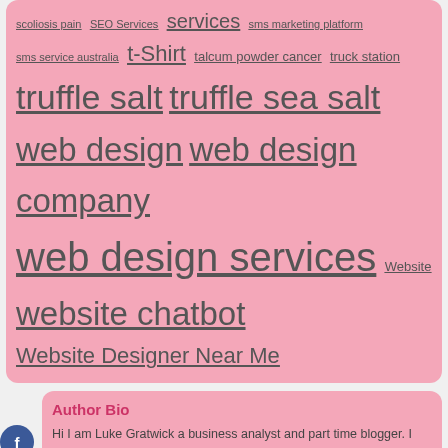[Figure (infographic): Pink rounded tag cloud box with links of varying sizes: scoliosis pain, SEO Services, services, sms marketing platform, sms service australia, t-Shirt, talcum powder cancer, truck station, truffle salt, truffle sea salt, web design, web design company, web design services, Website, website chatbot, Website Designer Near Me]
Author Bio
Hi I am Luke Gratwick a business analyst and part time blogger. I am crazy about gathering latest information around the world. I have started this blog to share my knowledge & experience.
[Figure (photo): Photo of a person in front of an American flag]